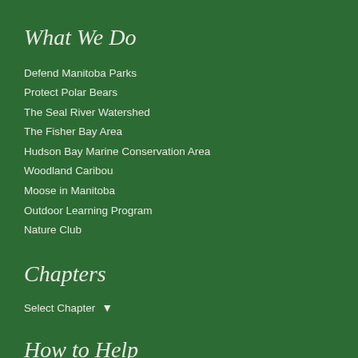What We Do
Defend Manitoba Parks
Protect Polar Bears
The Seal River Watershed
The Fisher Bay Area
Hudson Bay Marine Conservation Area
Woodland Caribou
Moose in Manitoba
Outdoor Learning Program
Nature Club
Chapters
Select Chapter
How to Help
Get Involved